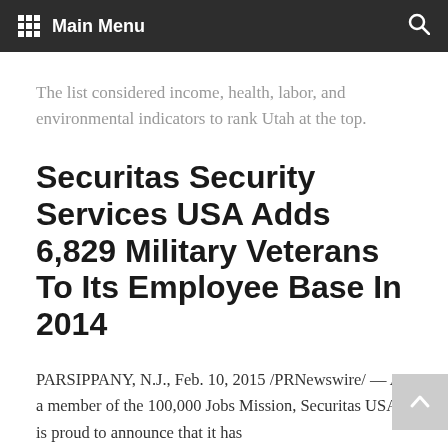Main Menu
The list considered income, health, labor, and environmental indicators to rank Utah at the top.
Securitas Security Services USA Adds 6,829 Military Veterans To Its Employee Base In 2014
PARSIPPANY, N.J., Feb. 10, 2015 /PRNewswire/ — As a member of the 100,000 Jobs Mission, Securitas USA is proud to announce that it has